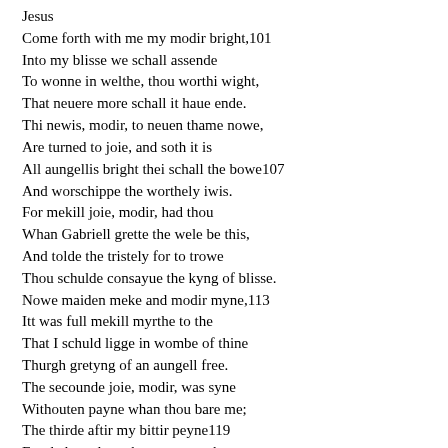Jesus
Come forth with me my modir bright,101
Into my blisse we schall assende
To wonne in welthe, thou worthi wight,
That neuere more schall it haue ende.
Thi newis, modir, to neuen thame nowe,
Are turned to joie, and soth it is
All aungellis bright thei schall the bowe107
And worschippe the worthely iwis.
For mekill joie, modir, had thou
Whan Gabriell grette the wele be this,
And tolde the tristely for to trowe
Thou schulde consayue the kyng of blisse.
Nowe maiden meke and modir myne,113
Itt was full mekill myrthe to the
That I schuld ligge in wombe of thine
Thurgh gretyng of an aungell free.
The secounde joie, modir, was syne
Withouten payne whan thou bare me;
The thirde aftir my bittir peyne119
Fro dede on lyve thou sawe me be.
The fourthe was when I stied vppe right
To heuene vnto my fadir dere-
My modir, when thou saugh that sight,
To the it was a solas seere.